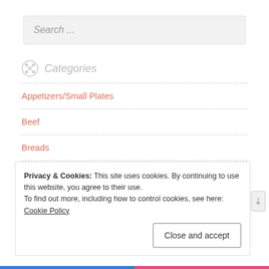Search ...
Categories
Appetizers/Small Plates
Beef
Breads
Breakfast/Brunch
Privacy & Cookies: This site uses cookies. By continuing to use this website, you agree to their use.
To find out more, including how to control cookies, see here: Cookie Policy
Close and accept